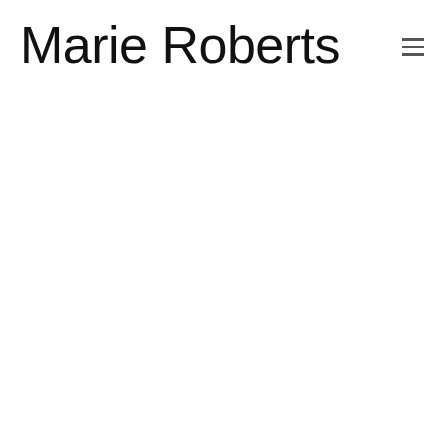Marie Roberts
[Figure (other): Hamburger menu icon (three horizontal lines) in the top-right corner of the page header]